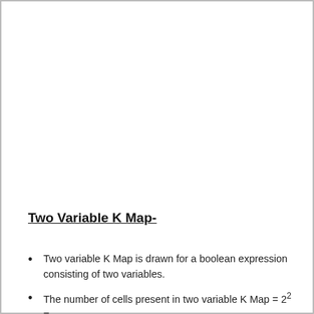Two Variable K Map-
Two variable K Map is drawn for a boolean expression consisting of two variables.
The number of cells present in two variable K Map = 2² =